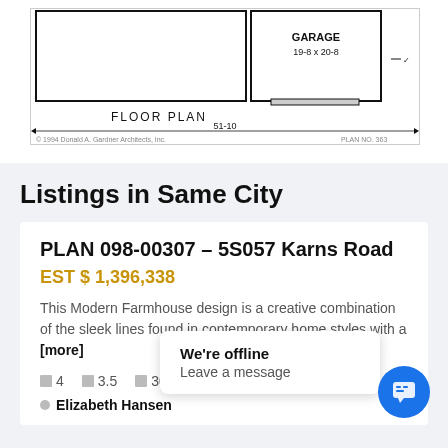[Figure (engineering-diagram): Floor plan diagram showing GARAGE 19-8 x 20-8, labeled FLOOR PLAN, width 51-10, copyright 1994 Donald A. Gardner Architects, Inc., Plan No. 363]
Listings in Same City
PLAN 098-00307 – 5S057 Karns Road
EST $ 1,396,338
This Modern Farmhouse design is a creative combination of the sleek lines found in contemporary home styles with a [more]
4   3.5   30
We're offline
Leave a message
Elizabeth Hansen